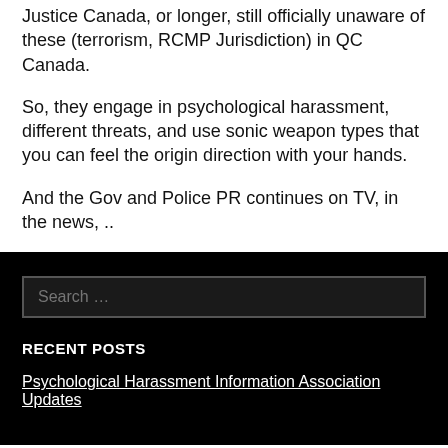Justice Canada, or longer, still officially unaware of these (terrorism, RCMP Jurisdiction) in QC Canada.
So, they engage in psychological harassment, different threats, and use sonic weapon types that you can feel the origin direction with your hands.
And the Gov and Police PR continues on TV, in the news, ..
Search …
RECENT POSTS
Psychological Harassment Information Association Updates